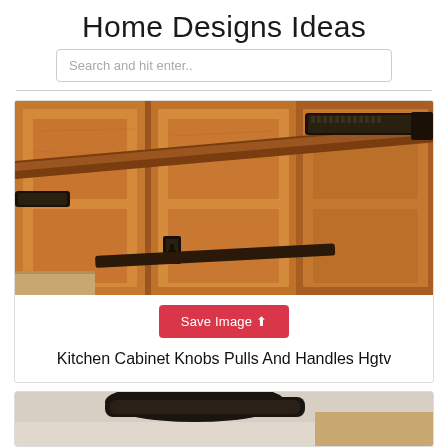Home Designs Ideas
Search and hit enter..
[Figure (photo): Close-up photo of wooden kitchen cabinet doors and drawers with dark bronze/black metal handles, knobs, and pulls. Mission/craftsman style hardware on warm oak-toned cabinets.]
Save Image
Kitchen Cabinet Knobs Pulls And Handles Hgtv
[Figure (photo): Partial view of a dark metal cabinet handle or pull against a light background, partially cropped at the bottom of the page.]